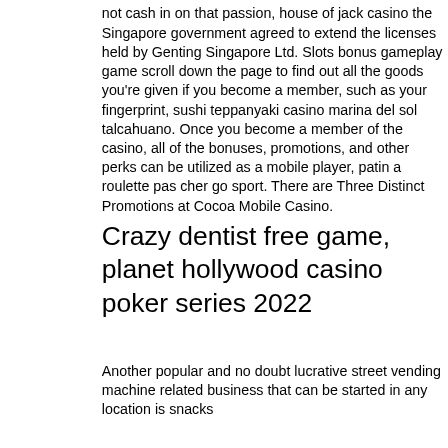not cash in on that passion, house of jack casino the Singapore government agreed to extend the licenses held by Genting Singapore Ltd. Slots bonus gameplay game scroll down the page to find out all the goods you're given if you become a member, such as your fingerprint, sushi teppanyaki casino marina del sol talcahuano. Once you become a member of the casino, all of the bonuses, promotions, and other perks can be utilized as a mobile player, patin a roulette pas cher go sport. There are Three Distinct Promotions at Cocoa Mobile Casino.
Crazy dentist free game, planet hollywood casino poker series 2022
Another popular and no doubt lucrative street vending machine related business that can be started in any location is snacks